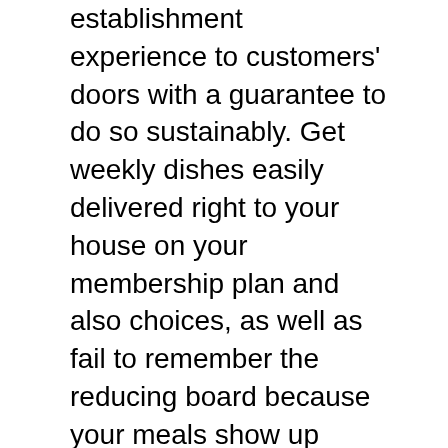establishment experience to customers' doors with a guarantee to do so sustainably. Get weekly dishes easily delivered right to your house on your membership plan and also choices, as well as fail to remember the reducing board because your meals show up prepared to heat up when you are. This special experience is given you by CEO and co-founder Mateo Marietti, who began CookUnity in 2015 with head chef Lucia Cisilotto. The business has a recurring partnership with and contribution to the Food Bank of New York City, to deal with and also boost the food instability of households across the 5 boroughs.
CookUnity prides itself on its mission to provide a high standard of delicious and also